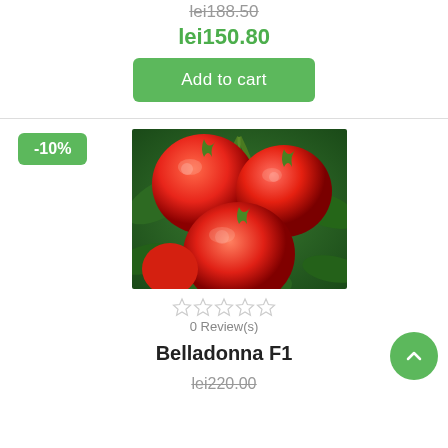lei188.50 (strikethrough)
lei150.80
Add to cart
-10%
[Figure (photo): Cluster of red ripe tomatoes on the vine with green leaves, product photo for Belladonna F1 tomato variety]
0 Review(s)
Belladonna F1
lei220.00 (strikethrough)